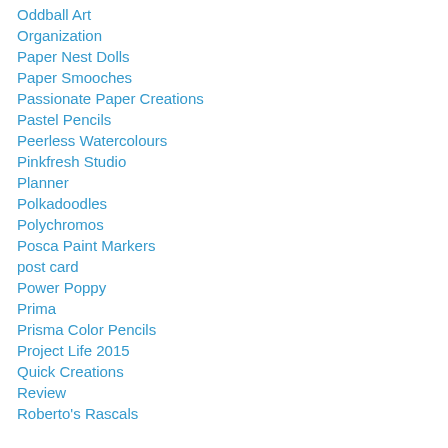Oddball Art
Organization
Paper Nest Dolls
Paper Smooches
Passionate Paper Creations
Pastel Pencils
Peerless Watercolours
Pinkfresh Studio
Planner
Polkadoodles
Polychromos
Posca Paint Markers
post card
Power Poppy
Prima
Prisma Color Pencils
Project Life 2015
Quick Creations
Review
Roberto's Rascals